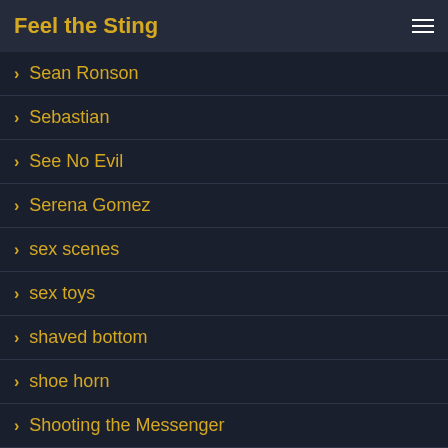Feel the Sting
> Sean Ronson
> Sebastian
> See No Evil
> Serena Gomez
> sex scenes
> sex toys
> shaved bottom
> shoe horn
> Shooting the Messenger
> Shore Based Discipline
> Simon Best